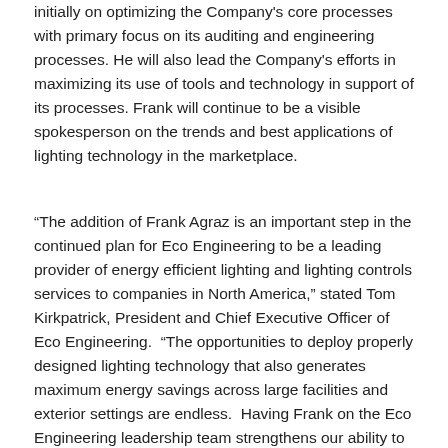initially on optimizing the Company's core processes with primary focus on its auditing and engineering processes. He will also lead the Company's efforts in maximizing its use of tools and technology in support of its processes. Frank will continue to be a visible spokesperson on the trends and best applications of lighting technology in the marketplace.
“The addition of Frank Agraz is an important step in the continued plan for Eco Engineering to be a leading provider of energy efficient lighting and lighting controls services to companies in North America,” stated Tom Kirkpatrick, President and Chief Executive Officer of Eco Engineering.  “The opportunities to deploy properly designed lighting technology that also generates maximum energy savings across large facilities and exterior settings are endless.  Having Frank on the Eco Engineering leadership team strengthens our ability to